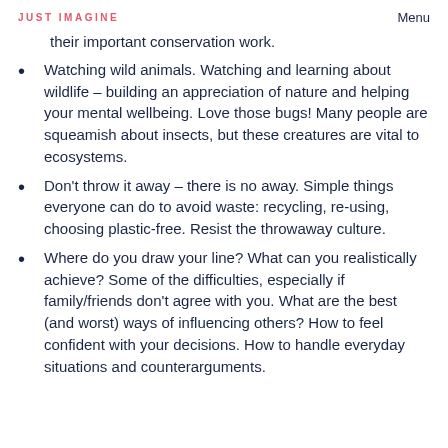JUST IMAGINE   Menu
their important conservation work.
Watching wild animals. Watching and learning about wildlife – building an appreciation of nature and helping your mental wellbeing. Love those bugs! Many people are squeamish about insects, but these creatures are vital to ecosystems.
Don't throw it away – there is no away. Simple things everyone can do to avoid waste: recycling, re-using, choosing plastic-free. Resist the throwaway culture.
Where do you draw your line? What can you realistically achieve? Some of the difficulties, especially if family/friends don't agree with you. What are the best (and worst) ways of influencing others? How to feel confident with your decisions. How to handle everyday situations and counterarguments.